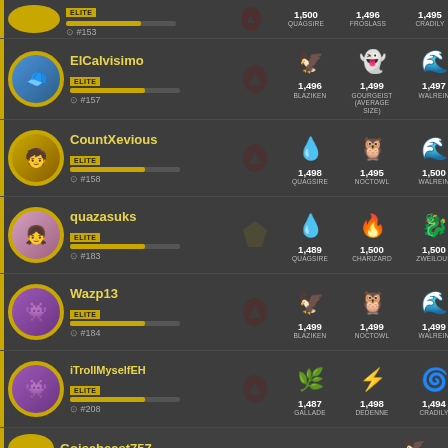#153 ELITE - Quagsire 1,500 | Froslass 1,496 | Cradily 1,495
ElCalvisimo ELITE #157 - Blaziken 1,496 | Gourgeist (Average Size) 1,499 | Walrein 1,497
CountXevious ELITE #158 - Quagsire 1,498 | Noctowl 1,495 | Walrein 1,500
quazasuks ELITE #183 - Quagsire 1,489 | Charizard 1,500 | Zweilous 1,500
Wazp13 ELITE #184 - Blaziken 1,499 | Noctowl 1,499 | Walrein 1,499
iTrollMyselfEH ELITE #208 - Gallade 1,487 | Dedenne 1,498 | Cradily 1,494
Goisabeast757 ELITE - (partial)